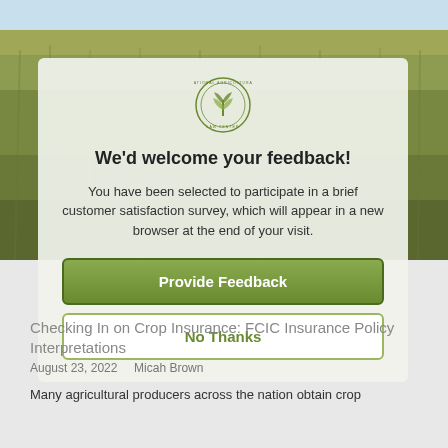[Figure (photo): Background photograph of a corn field with blue sky at top]
[Figure (logo): National Agricultural Law Center circular logo with green tree/plant emblem and text around the border]
We'd welcome your feedback!
You have been selected to participate in a brief customer satisfaction survey, which will appear in a new browser at the end of your visit.
Provide Feedback
No Thanks
Checking In on Crop Insurance: FCIC Insurance Policy Interpretations
August 23, 2022    Micah Brown
Many agricultural producers across the nation obtain crop